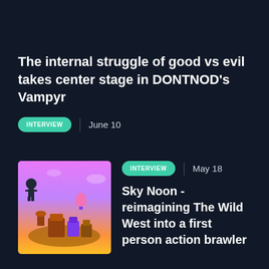The internal struggle of good vs evil takes center stage in DONTNOD's Vampyr
INTERVIEW  |  June 10
[Figure (illustration): Colorful illustrated thumbnail showing a Wild West floating town scene with characters and pink/purple sky]
INTERVIEW  |  May 18
Sky Noon - reimagining The Wild West into a first person action brawler